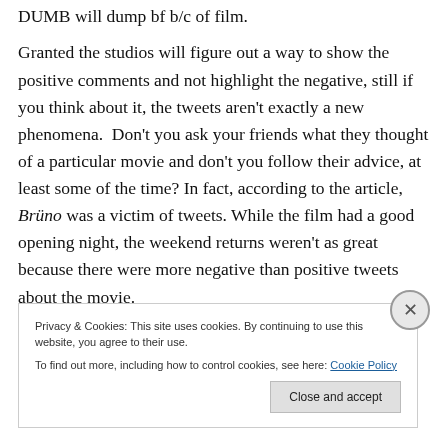DUMB will dump bf b/c of film.
Granted the studios will figure out a way to show the positive comments and not highlight the negative, still if you think about it, the tweets aren't exactly a new phenomena.  Don't you ask your friends what they thought of a particular movie and don't you follow their advice, at least some of the time? In fact, according to the article, Brüno was a victim of tweets. While the film had a good opening night, the weekend returns weren't as great because there were more negative than positive tweets about the movie.
Privacy & Cookies: This site uses cookies. By continuing to use this website, you agree to their use.
To find out more, including how to control cookies, see here: Cookie Policy
Close and accept